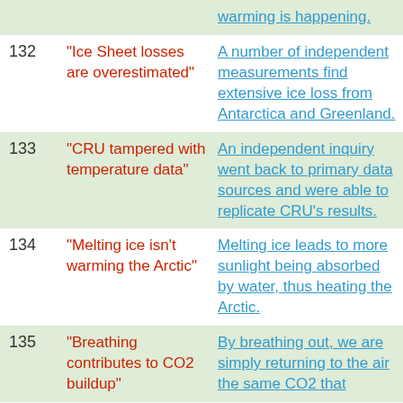| # | Myth | Fact |
| --- | --- | --- |
|  |  | warming is happening. |
| 132 | "Ice Sheet losses are overestimated" | A number of independent measurements find extensive ice loss from Antarctica and Greenland. |
| 133 | "CRU tampered with temperature data" | An independent inquiry went back to primary data sources and were able to replicate CRU's results. |
| 134 | "Melting ice isn't warming the Arctic" | Melting ice leads to more sunlight being absorbed by water, thus heating the Arctic. |
| 135 | "Breathing contributes to CO2 buildup" | By breathing out, we are simply returning to the air the same CO2 that |